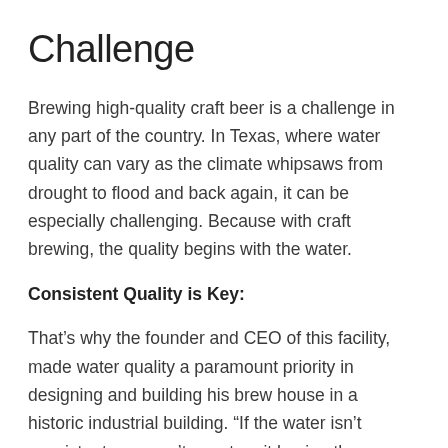Challenge
Brewing high-quality craft beer is a challenge in any part of the country. In Texas, where water quality can vary as the climate whipsaws from drought to flood and back again, it can be especially challenging. Because with craft brewing, the quality begins with the water.
Consistent Quality is Key:
That’s why the founder and CEO of this facility, made water quality a paramount priority in designing and building his brew house in a historic industrial building. “If the water isn’t consistent, you can’t count on it having the same quality and flavor going in, and you can’t get consistent quality on the back end,” says